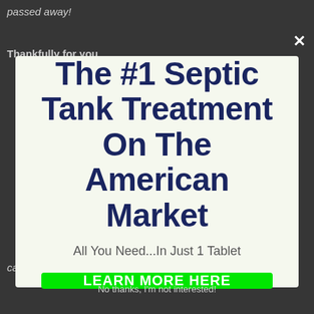passed away!
Thankfully for you
The #1 Septic Tank Treatment On The American Market
All You Need...In Just 1 Tablet
LEARN MORE HERE
can enjoy your beautiful yard without any risk.
No thanks, I'm not interested!